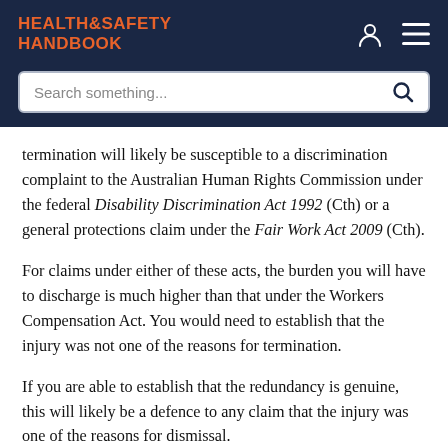HEALTH&SAFETY HANDBOOK
termination will likely be susceptible to a discrimination complaint to the Australian Human Rights Commission under the federal Disability Discrimination Act 1992 (Cth) or a general protections claim under the Fair Work Act 2009 (Cth).
For claims under either of these acts, the burden you will have to discharge is much higher than that under the Workers Compensation Act. You would need to establish that the injury was not one of the reasons for termination.
If you are able to establish that the redundancy is genuine, this will likely be a defence to any claim that the injury was one of the reasons for dismissal.